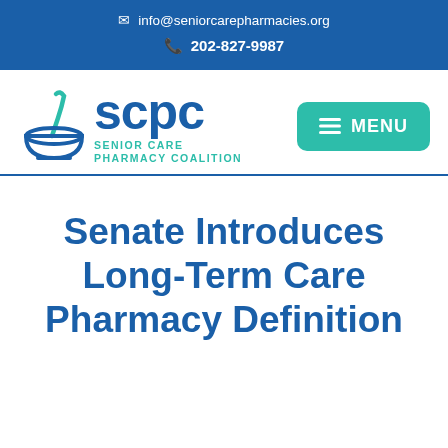✉ info@seniorcarepharmacies.org  ☎ 202-827-9987
[Figure (logo): SCPC Senior Care Pharmacy Coalition logo with mortar and pestle icon, blue and teal colors]
≡ MENU
Senate Introduces Long-Term Care Pharmacy Definition